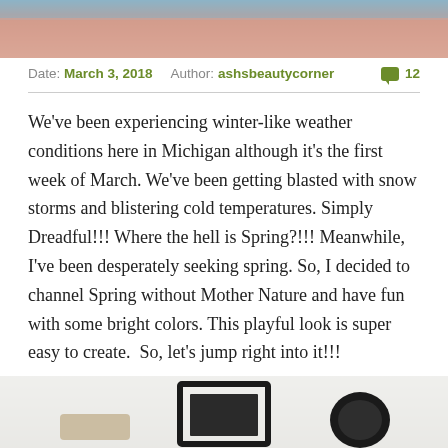[Figure (photo): Top portion of a beauty/makeup blog post image, showing skin tones and soft blue background at the top]
Date: March 3, 2018   Author: ashsbeautycorner   💬 12
We've been experiencing winter-like weather conditions here in Michigan although it's the first week of March. We've been getting blasted with snow storms and blistering cold temperatures. Simply Dreadful!!! Where the hell is Spring?!!! Meanwhile, I've been desperately seeking spring. So, I decided to channel Spring without Mother Nature and have fun with some bright colors. This playful look is super easy to create.  So, let's jump right into it!!!
[Figure (photo): Bottom portion showing beauty/makeup products on a white fur background with a black frame visible]